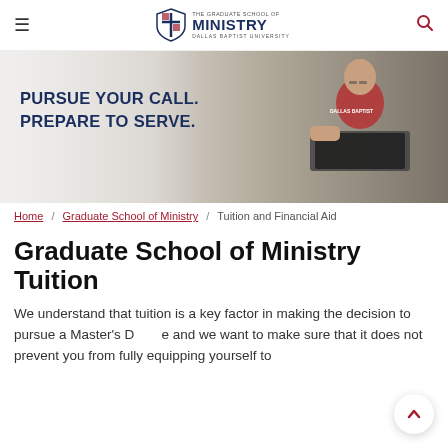☰  THE GRADUATE SCHOOL OF MINISTRY | DALLAS BAPTIST UNIVERSITY  🔍
[Figure (photo): Banner image showing a man in a red Dallas Baptist University shirt working on a laptop, with overlay text 'PURSUE YOUR CALL. PREPARE TO SERVE.']
Home / Graduate School of Ministry / Tuition and Financial Aid
Graduate School of Ministry Tuition
We understand that tuition is a key factor in making the decision to pursue a Master's Degree and we want to make sure that it does not prevent you from fully equipping yourself to